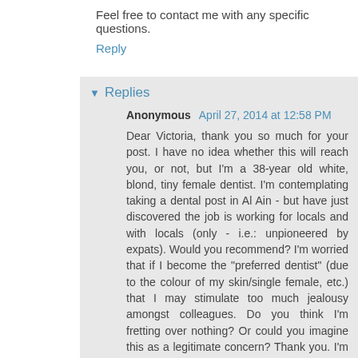Feel free to contact me with any specific questions.
Reply
Replies
Anonymous  April 27, 2014 at 12:58 PM
Dear Victoria, thank you so much for your post. I have no idea whether this will reach you, or not, but I'm a 38-year old white, blond, tiny female dentist. I'm contemplating taking a dental post in Al Ain - but have just discovered the job is working for locals and with locals (only - i.e.: unpioneered by expats). Would you recommend? I'm worried that if I become the "preferred dentist" (due to the colour of my skin/single female, etc.) that I may stimulate too much jealousy amongst colleagues. Do you think I'm fretting over nothing? Or could you imagine this as a legitimate concern? Thank you. I'm so grateful for your time. - Melody (Email: meldamour@yahoo.ca)